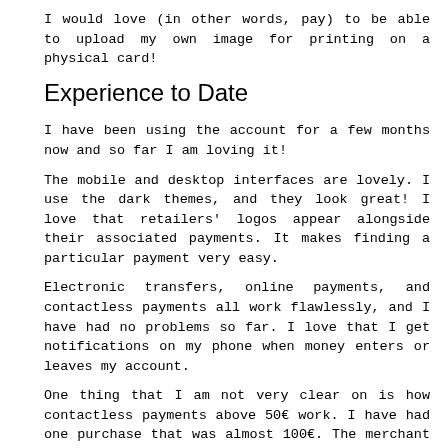I would love (in other words, pay) to be able to upload my own image for printing on a physical card!
Experience to Date
I have been using the account for a few months now and so far I am loving it!
The mobile and desktop interfaces are lovely. I use the dark themes, and they look great! I love that retailers' logos appear alongside their associated payments. It makes finding a particular payment very easy.
Electronic transfers, online payments, and contactless payments all work flawlessly, and I have had no problems so far. I love that I get notifications on my phone when money enters or leaves my account.
One thing that I am not very clear on is how contactless payments above 50€ work. I have had one purchase that was almost 100€. The merchant told me that it accepted contactless for this, so I used my phone. I was asked for a password, but it was not clear to me which password I should use. I tried one, it did not work, and then I paid using a different method because I did not want to lock my account.